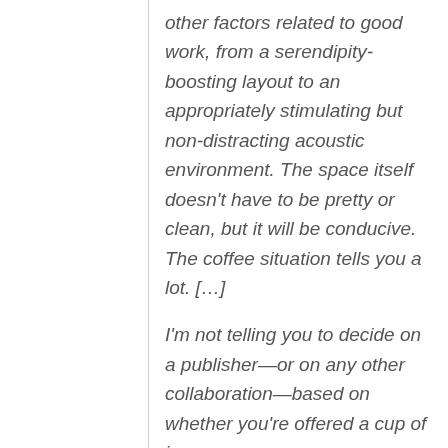other factors related to good work, from a serendipity-boosting layout to an appropriately stimulating but non-distracting acoustic environment. The space itself doesn't have to be pretty or clean, but it will be conducive. The coffee situation tells you a lot. […]

I'm not telling you to decide on a publisher—or on any other collaboration—based on whether you're offered a cup of joe as you